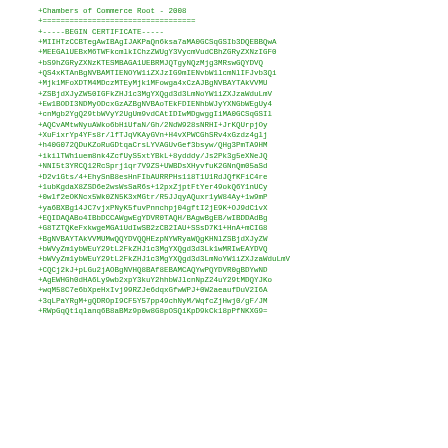+Chambers of Commerce Root - 2008
+==================================
+-----BEGIN CERTIFICATE-----
+MIIHTzCCBTegAwIBAgIJAKPaQn6ksa7aMA0GCSqGSIb3DQEBBQwA
+MEEGAlUEBxM6TWFkcmlkIChzZWUgY3VycmVudCBhZGRyZXNzIGF0
+bS9hZGRyZXNzKTESMBAGA1UEBRMJQTgyNQzMjg3MRswGQYDVQ==
+QS4xKTAnBgNVBAMTIENOYW1iZXJzIG9mIENvbW1lcmNlIFJvb3Qi
+Mjk1MFoXDTM4MDczMTEyMjk1MFowga4xCzAJBgNVBAYTAkVVMU==
+ZSBjdXJyZW50IGFkZHJ1c3MgYXQgd3d3LmNoYW1iZXJzaWduLmV==
+Ew1BODI3NDMyODcxGzAZBgNVBAoTEkFDIENhbWJyYXNGbWEgUy4=
+cnMgb2YgQ29tbWVyY2UgUm9vdCAtIDIwMDgwggIiMA0GCSqGSIl==
+AQCvAMtwNyuAWko6bHiUfaN/Gh/2NdW928sNRHI+JrKQUrpjOy==
+XuFixrYp4YFs8r/lfTJqVKAyGVn+H4vXPWCGhSRv4xGzdz4glj==
+h40G072QDuKZoRuGDtqaCrsLYVAGUvGef3bsyw/QHg3PmTA9HM==
+ikilTWh1uem8nk4ZcfUyS5xtYBkL+8ydddy/Js2Pk3g5eXNeJQ==
+NNI5t3YRCQ12RcSprj1qr7V9ZS+UWBDsXHyvfuK2GNnQm05aSd==
+D2v1Gts/4+EhySnB8esHnFIbAURRPHs118T1U1RdJQfKFiC4re==
+1ubKgdaX8ZSD6e2wsWsSaR6s+12pxZjptFtYer49okQ6Y1nUCy==
+0wlf2eOKNcx5Wk0ZN5K3xMGtr/R5JJqyAQuxr1yW84Ay+1w9mP==
+ya6BXBg14JC7vjxPNyK5fuvPnnchpj04gftI2jE9K+OJ9dC1vX==
+EQIDAQABo4IBbDCCAWgwEgYDVR0TAQH/BAgwBgEB/wIBDDAdBg==
+G8TZTQKeFxkwgeMGA1UdIwSB2zCB2IAU+SSsD7K1+HnA+mCIG8==
+BgNVBAYTAkVVMUMwQQYDVQQHEzpNYWRyaWQgKHNlZSBjdXJyZW==
+bWVyZm1ybWEuY29tL2FkZHJ1c3MgYXQgd3d3Lk1wMRIwEAYDVQ==
+bWVyZm1ybWEuY29tL2FkZHJ1c3MgYXQgd3d3LmNoYW1iZXJzaWduLmV==
+bWVyZm1ybWEQyhbWJ1cnNpZ24uQ29t1DVQH8BAf8EBAMCAQYwPQYDVR0gBDYwND==
+CQCj2kJ+pLGu2jAOBgNVHQ8BAf8EBAMCAQYwPQYDVR0gBDYwND==
+AgEWHGh0dHA6Ly9wb2xpY3kuY2hhbWJlcnNpZ24uY29tMDQYJKo==
+wqM58C7e6bXpeHxIvj99RZJe6dqxGfwWPJ+0W2aeaufDuV2I6A==
+3qLPaYRgM+gQDROpI9CF5Y57pp49chNyM/WqfcZjHwj0/gF/JM==
+RWpGqQt1qlanq6B8aBMz9p0w8G8pOSQiKpD9kCk18pPfNKXG9==